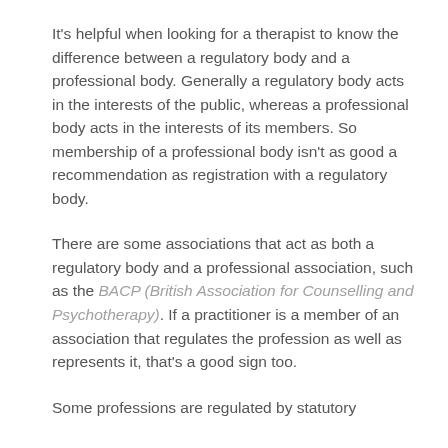It's helpful when looking for a therapist to know the difference between a regulatory body and a professional body. Generally a regulatory body acts in the interests of the public, whereas a professional body acts in the interests of its members. So membership of a professional body isn't as good a recommendation as registration with a regulatory body.
There are some associations that act as both a regulatory body and a professional association, such as the BACP (British Association for Counselling and Psychotherapy). If a practitioner is a member of an association that regulates the profession as well as represents it, that's a good sign too.
Some professions are regulated by statutory